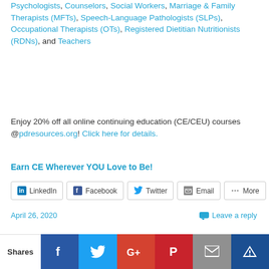Psychologists, Counselors, Social Workers, Marriage & Family Therapists (MFTs), Speech-Language Pathologists (SLPs), Occupational Therapists (OTs), Registered Dietitian Nutritionists (RDNs), and Teachers
Enjoy 20% off all online continuing education (CE/CEU) courses @pdresources.org! Click here for details.
Earn CE Wherever YOU Love to Be!
LinkedIn Facebook Twitter Email More
Like this:
Loading...
April 26, 2020
Leave a reply
Shares